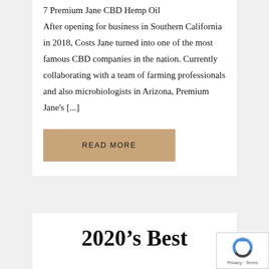7 Premium Jane CBD Hemp Oil After opening for business in Southern California in 2018, Costs Jane turned into one of the most famous CBD companies in the nation. Currently collaborating with a team of farming professionals and also microbiologists in Arizona, Premium Jane's [...]
READ MORE
2020's Best